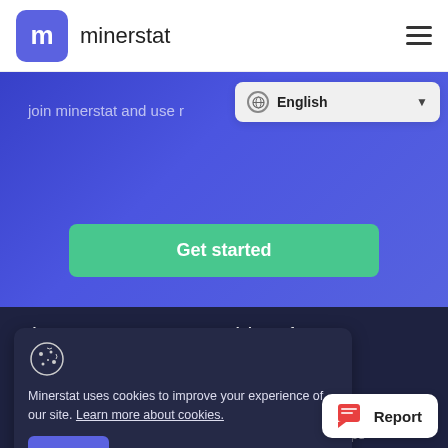m minerstat
[Figure (screenshot): Minerstat website screenshot showing navigation bar with logo, hero section with blue gradient background, language selector dropdown showing English, Get started button, footer with minerstat and Mining software columns, cookie consent notice, and Report button]
join minerstat and use r
English
Get started
minerstat
Mining software
About / Contact
Mining OS
Blog
Windows mining
Merchandise
Lite monitoring
Pricing
Mobile apps
Minerstat uses cookies to improve your experience of our site. Learn more about cookies.
Close
Report